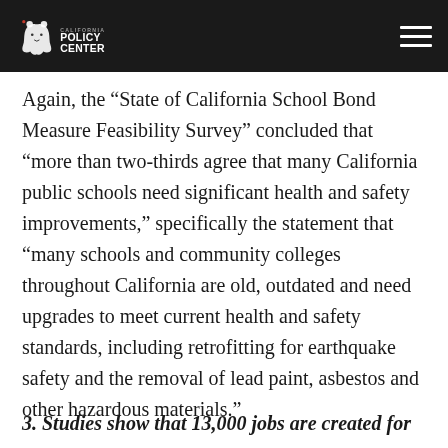California Policy Center
Again, the “State of California School Bond Measure Feasibility Survey” concluded that “more than two-thirds agree that many California public schools need significant health and safety improvements,” specifically the statement that “many schools and community colleges throughout California are old, outdated and need upgrades to meet current health and safety standards, including retrofitting for earthquake safety and the removal of lead paint, asbestos and other hazardous materials.”
3. Studies show that 13,000 jobs are created for